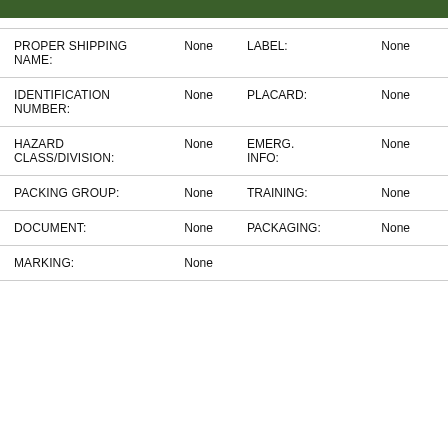[Figure (other): Dark green horizontal bar at top of page]
| Field | Value | Field2 | Value2 |
| --- | --- | --- | --- |
| PROPER SHIPPING NAME: | None | LABEL: | None |
| IDENTIFICATION NUMBER: | None | PLACARD: | None |
| HAZARD CLASS/DIVISION: | None | EMERG. INFO: | None |
| PACKING GROUP: | None | TRAINING: | None |
| DOCUMENT: | None | PACKAGING: | None |
| MARKING: | None |  |  |